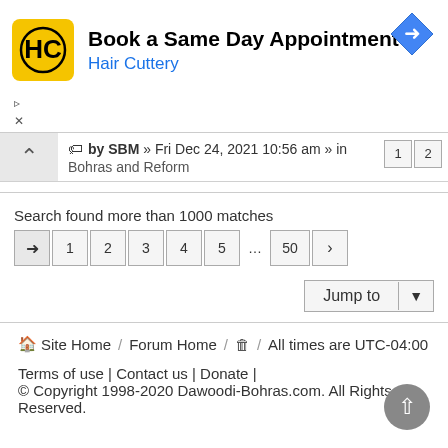[Figure (other): Hair Cuttery advertisement banner with yellow HC logo, title 'Book a Same Day Appointment', subtitle 'Hair Cuttery', and blue navigation diamond icon]
▷
×
🏷 by SBM » Fri Dec 24, 2021 10:56 am » in Bohras and Reform
Search found more than 1000 matches  ➡ 1 2 3 4 5 … 50 ›
Jump to
🏠 Site Home / Forum Home / 🗑 / All times are UTC-04:00
Terms of use | Contact us | Donate |
© Copyright 1998-2020 Dawoodi-Bohras.com. All Rights Reserved.